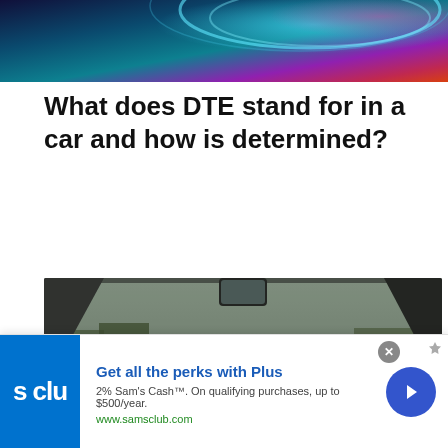[Figure (photo): Abstract banner with blue, teal, purple and orange light streaks on dark background]
What does DTE stand for in a car and how is determined?
[Figure (photo): Interior of a car from driver perspective showing dashboard, steering wheel being held by driver wearing green sleeve, windshield view of highway with cars and trees, motion blur effect, overcast day]
Get all the perks with Plus
2% Sam's Cash™. On qualifying purchases, up to $500/year.
www.samsclub.com